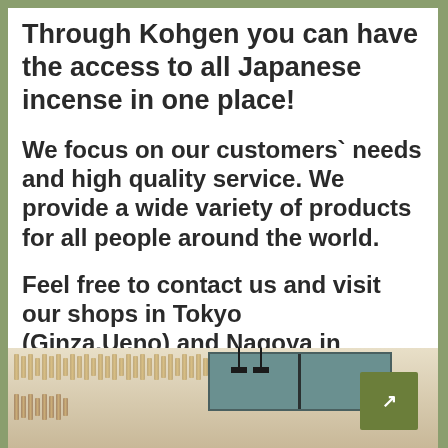Through Kohgen you can have the access to all Japanese incense in one place!
We focus on our customers` needs and high quality service. We provide a wide variety of products for all people around the world.
Feel free to contact us and visit our shops in Tokyo (Ginza,Ueno) and Nagoya in Japan!
[Figure (photo): Interior photo of a Japanese incense shop showing shelves lined with incense products, a window, and ceiling light fixtures. A green button/icon is visible in the lower right corner.]